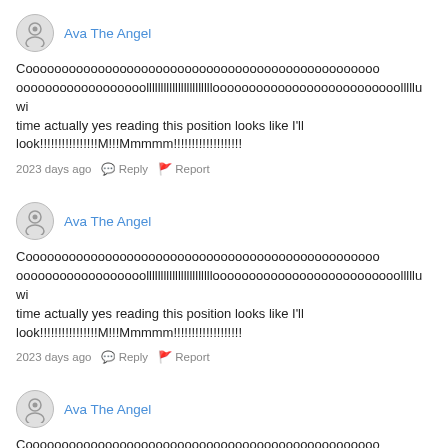Ava The Angel
Coooooooooooooooooooooooooooooooooooooooooooooooooooooooooooooooooooooooooooooooollllllllllllllllllllllloooooooooooooooooooooooooolllllu wi time actually yes reading this position looks like I'll look!!!!!!!!!!!!!!!!M!!!Mmmmm!!!!!!!!!!!!!!!!!!!
2023 days ago  Reply  Report
Ava The Angel
Coooooooooooooooooooooooooooooooooooooooooooooooooooooooooooooooooooooooooooooooollllllllllllllllllllllloooooooooooooooooooooooooolllllu wi time actually yes reading this position looks like I'll look!!!!!!!!!!!!!!!!M!!!Mmmmm!!!!!!!!!!!!!!!!!!!
2023 days ago  Reply  Report
Ava The Angel
Coooooooooooooooooooooooooooooooooooooooooooooooooooooooooooooooooooooooooooooooollllllllllllllllllllllloooooooooooooooooooooooooolllllu wi time actually yes reading this position looks like I'll